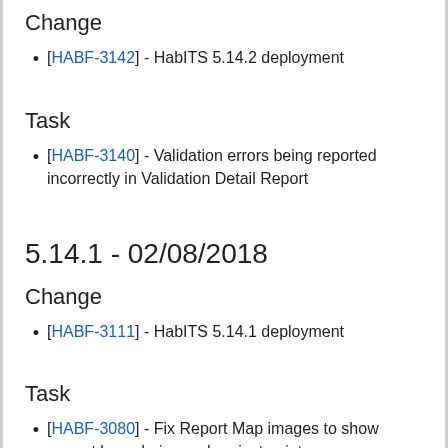Change
[HABF-3142] - HabITS 5.14.2 deployment
Task
[HABF-3140] - Validation errors being reported incorrectly in Validation Detail Report
5.14.1 - 02/08/2018
Change
[HABF-3111] - HabITS 5.14.1 deployment
Task
[HABF-3080] - Fix Report Map images to show correct boundaries and project points.
[HABF-3082] - Fix Species Summary Report